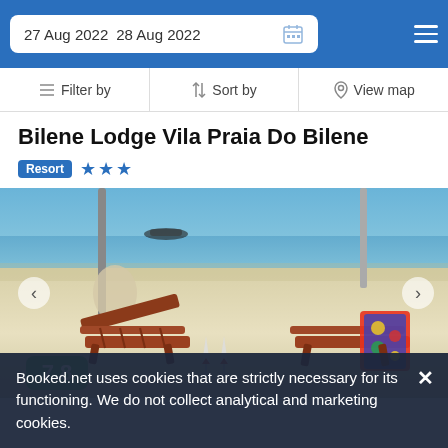27 Aug 2022  28 Aug 2022
Filter by  |  Sort by  |  View map
Bilene Lodge Vila Praia Do Bilene
Resort  ★★★
[Figure (photo): Beach scene with two wooden sun loungers, champagne glasses in the sand, blue sea and sky in the background. Score badge 7.8 shown in bottom-left corner.]
7.8
Booked.net uses cookies that are strictly necessary for its functioning. We do not collect analytical and marketing cookies.